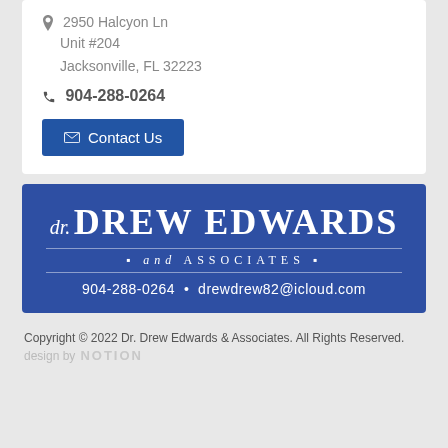📍 2950 Halcyon Ln Unit #204 Jacksonville, FL 32223
📞 904-288-0264
✉ Contact Us
[Figure (logo): Dr. Drew Edwards and Associates logo banner — blue background with white serif text: 'dr. DREW EDWARDS' large, '* and ASSOCIATES *' below with decorative rules, then '904-288-0264 • drewdrew82@icloud.com']
Copyright © 2022 Dr. Drew Edwards & Associates. All Rights Reserved. design by NOTION